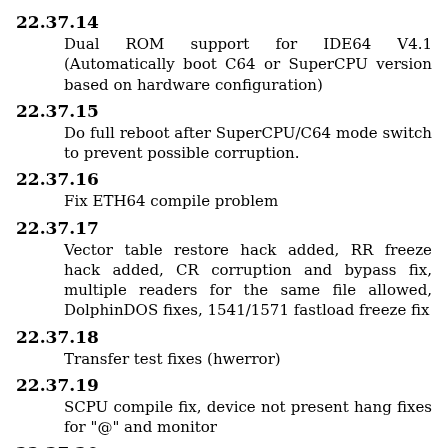22.37.14
Dual ROM support for IDE64 V4.1 (Automatically boot C64 or SuperCPU version based on hardware configuration)
22.37.15
Do full reboot after SuperCPU/C64 mode switch to prevent possible corruption.
22.37.16
Fix ETH64 compile problem
22.37.17
Vector table restore hack added, RR freeze hack added, CR corruption and bypass fix, multiple readers for the same file allowed, DolphinDOS fixes, 1541/1571 fastload freeze fix
22.37.18
Transfer test fixes (hwerror)
22.37.19
SCPU compile fix, device not present hang fixes for "@" and monitor
22.37.20
Manager updates (mkdir, pattern selection) Device number change with C" invocation. Thinlator config...